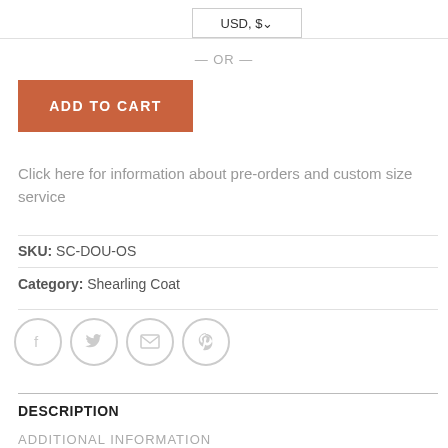USD, $
— OR —
ADD TO CART
Click here for information about pre-orders and custom size service
SKU: SC-DOU-OS
Category: Shearling Coat
[Figure (other): Social sharing icons: Facebook, Twitter, Email, Pinterest - circular outline icons]
DESCRIPTION
ADDITIONAL INFORMATION